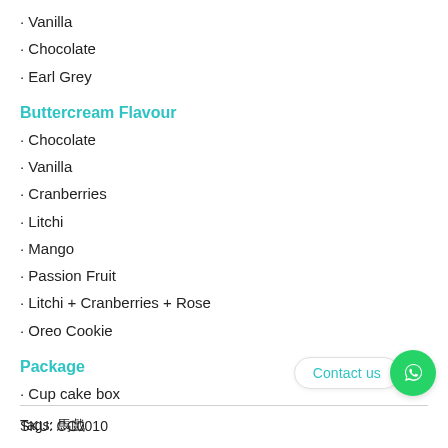Vanilla
Chocolate
Earl Grey
Buttercream Flavour
Chocolate
Vanilla
Cranberries
Litchi
Mango
Passion Fruit
Litchi + Cranberries + Rose
Oreo Cookie
Package
Cup cake box
Tags: 馬戲
Contact us
SKU: CC0010